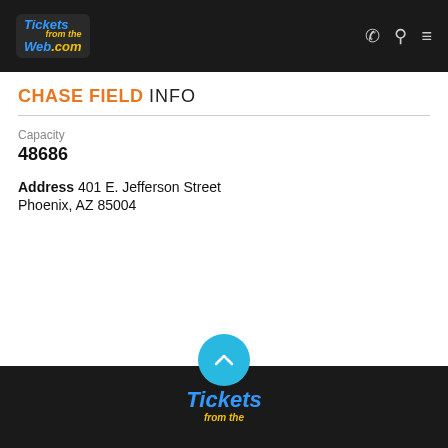TicketsFromTheWeb.com
CHASE FIELD INFO
Capacity
48686
Address 401 E. Jefferson Street Phoenix, AZ 85004
[Figure (logo): TicketsFromTheWeb.com footer logo in blue italic bold text with yellow 'from the' script]
TicketsFromTheWeb.com footer with scroll-to-top button